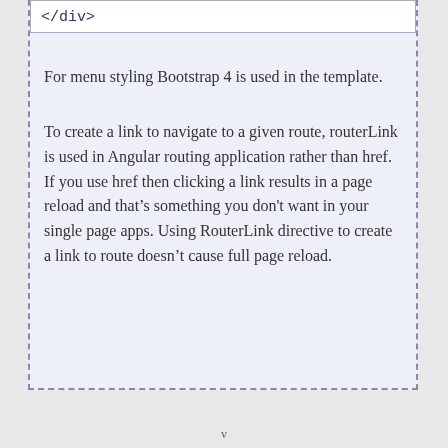</div>
For menu styling Bootstrap 4 is used in the template.
To create a link to navigate to a given route, routerLink is used in Angular routing application rather than href. If you use href then clicking a link results in a page reload and that’s something you don't want in your single page apps. Using RouterLink directive to create a link to route doesn’t cause full page reload.
v